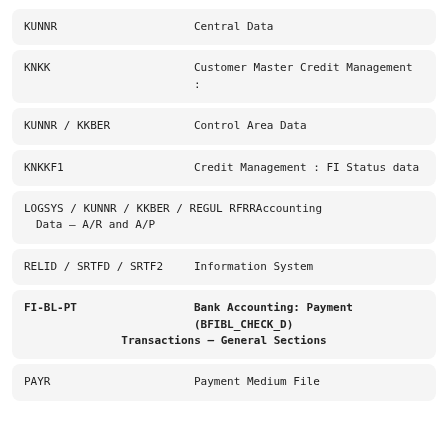KUNNR    Central Data
KNKK    Customer Master Credit Management :
KUNNR / KKBER    Control Area Data
KNKKF1    Credit Management : FI Status data
LOGSYS / KUNNR / KKBER / REGUL RFRR    Accounting Data – A/R and A/P
RELID / SRTFD / SRTF2    Information System
FI-BL-PT    Bank Accounting: Payment (BFIBL_CHECK_D) Transactions – General Sections
PAYR    Payment Medium File